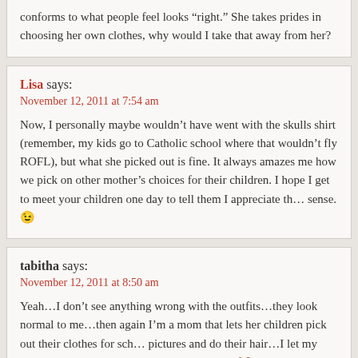conforms to what people feel looks “right.” She takes prides in choosing her own clothes, why would I take that away from her?
Lisa says:
November 12, 2011 at 7:54 am
Now, I personally maybe wouldn’t have went with the skulls shirt (remember, my kids go to Catholic school where that wouldn’t fly ROFL), but what she picked out is fine. It always amazes me how we pick on other mother’s choices for their children. I hope I get to meet your children one day to tell them I appreciate their sense. 😉
tabitha says:
November 12, 2011 at 8:50 am
Yeah…I don’t see anything wrong with the outfits…they look normal to me…then again I’m a mom that lets her children pick out their clothes for school pictures and do their hair…I let my children be themselves…the other parents 😶